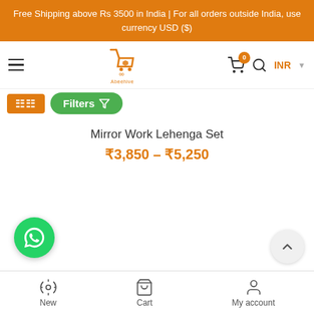Free Shipping above Rs 3500 in India | For all orders outside India, use currency USD ($)
[Figure (screenshot): Navigation bar with hamburger menu, Abeehive logo, cart icon with 0 badge, search icon, INR currency selector]
[Figure (screenshot): Toolbar with orange grid button and green Filters button]
Mirror Work Lehenga Set
₹3,850 – ₹5,250
[Figure (screenshot): WhatsApp chat button (green circle with WhatsApp logo)]
[Figure (screenshot): Scroll to top button (grey circle with up chevron)]
New  Cart  My account